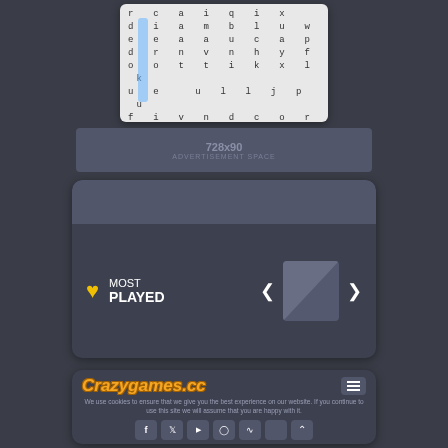[Figure (screenshot): Word search puzzle grid with letters, featuring a blue vertical highlight bar on the second column]
[Figure (screenshot): 728x90 advertisement banner placeholder in dark gray]
[Figure (screenshot): Most Played section with yellow heart icon, navigation arrows, and game thumbnail]
[Figure (screenshot): Crazygames.cc website footer with logo, hamburger menu, cookie notice, and social media icons]